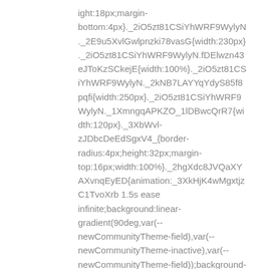ight:18px;margin-bottom:4px}._2iO5zt81CSiYhWRF9WylyN._2E9u5XvlGwlpnzki78vasG{width:230px}._2iO5zt81CSiYhWRF9WylyN.fDElwzn43eJToKzSCkejE{width:100%}._2iO5zt81CSiYhWRF9WylyN._2kNB7LAYYqYdyS85f8pqfi{width:250px}._2iO5zt81CSiYhWRF9WylyN._1XmngqAPKZO_1lDBwcQrR7{width:120px}._3XbWvl-zJDbcDeEdSgxV4_{border-radius:4px;height:32px;margin-top:16px;width:100%}._2hgXdc8JVQaXYAXvnqEyED{animation:_3XkHjK4wMgxtjzC1TvoXrb 1.5s ease infinite;background:linear-gradient(90deg,var(--newCommunityTheme-field),var(--newCommunityTheme-inactive),var(--newCommunityTheme-field));background-size:200%}._1KWSZXqSM_BLhBzkPyJFGR{background-color:var(--newCommunityTheme-widgetColors-sidebarWidgetBackgroundColor);border-